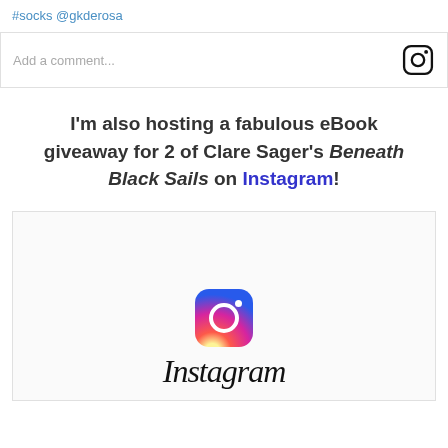#socks @gkderosa
Add a comment...
I'm also hosting a fabulous eBook giveaway for 2 of Clare Sager's Beneath Black Sails on Instagram!
[Figure (screenshot): Instagram embed box showing the Instagram logo (colorful gradient camera icon) and the word 'Instagram' in italic script font, on a light gray background with a border]